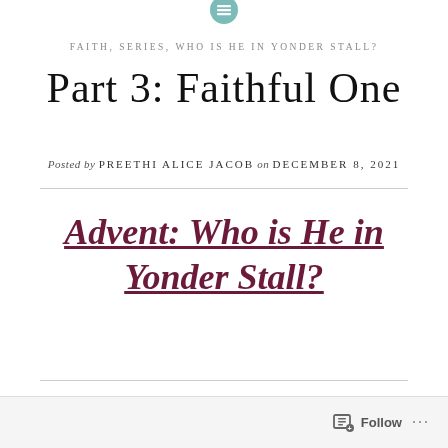FAITH, SERIES, WHO IS HE IN YONDER STALL?
Part 3: Faithful One
Posted by PREETHI ALICE JACOB on DECEMBER 8, 2021
Advent: Who is He in Yonder Stall?
Follow